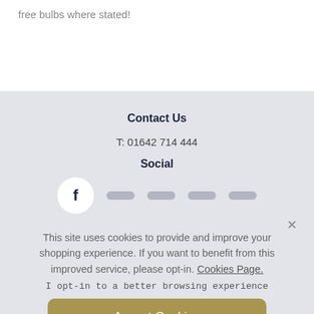free bulbs where stated!
Contact Us
T: 01642 714 444
Social
[Figure (other): Facebook social icon circle and placeholder social icon bars]
This site uses cookies to provide and improve your shopping experience. If you want to benefit from this improved service, please opt-in. Cookies Page.
I opt-in to a better browsing experience
Accept Cookies